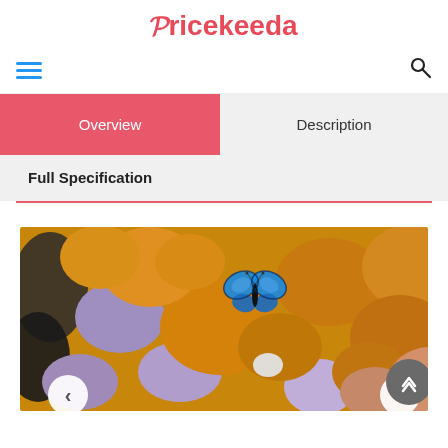Pricekeeda
Overview
Description
Full Specification
[Figure (photo): Photo of colorful smooth pebbles/stones in orange, purple, and pink tones with a blue butterfly resting on one of the stones. Carousel navigation arrows visible at bottom left and right.]